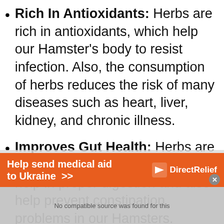Rich In Antioxidants: Herbs are rich in antioxidants, which help our Hamster's body to resist infection. Also, the consumption of herbs reduces the risk of many diseases such as heart, liver, kidney, and chronic illness.
Improves Gut Health: Herbs are packed with dietary fibers, which help in proper digestion and also help prevent constipation problems in our Hamsters.
Maintain Healthy Weight: Consumption of
[Figure (other): Advertisement overlay: orange banner reading 'Help send medical aid to Ukraine >>' with DirectRelief logo, and a video player overlay with 'No compatible source was found for this' message.]